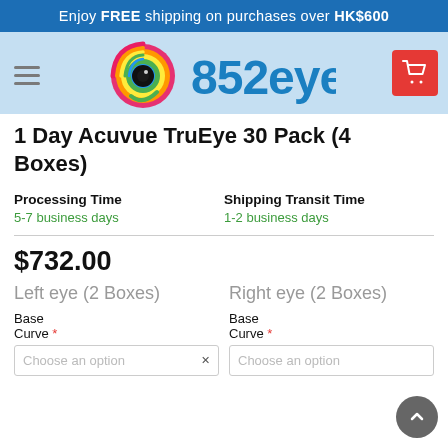Enjoy FREE shipping on purchases over HK$600
[Figure (logo): 852eyes logo with rainbow eye graphic and blue text '852eyes']
1 Day Acuvue TruEye 30 Pack (4 Boxes)
Processing Time: 5-7 business days | Shipping Transit Time: 1-2 business days
$732.00
Left eye (2 Boxes) — Base Curve * Choose an option
Right eye (2 Boxes) — Base Curve * Choose an option